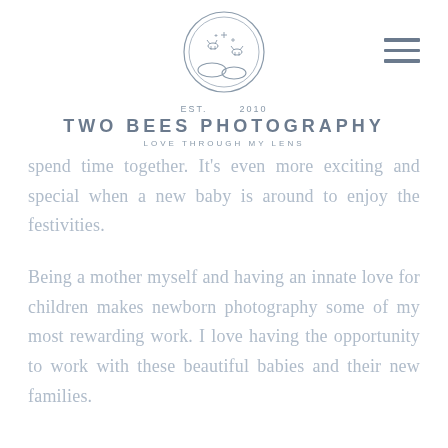[Figure (logo): Two Bees Photography logo: circular illustration with two bees and sparkles above rolling hills, EST. 2010, brand name TWO BEES PHOTOGRAPHY, tagline LOVE THROUGH MY LENS]
spend time together. It's even more exciting and special when a new baby is around to enjoy the festivities.
Being a mother myself and having an innate love for children makes newborn photography some of my most rewarding work. I love having the opportunity to work with these beautiful babies and their new families.